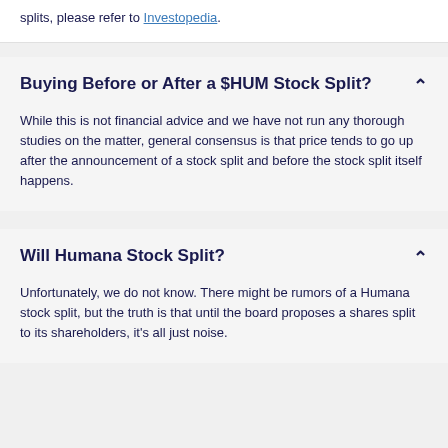splits, please refer to Investopedia.
Buying Before or After a $HUM Stock Split?
While this is not financial advice and we have not run any thorough studies on the matter, general consensus is that price tends to go up after the announcement of a stock split and before the stock split itself happens.
Will Humana Stock Split?
Unfortunately, we do not know. There might be rumors of a Humana stock split, but the truth is that until the board proposes a shares split to its shareholders, it's all just noise.